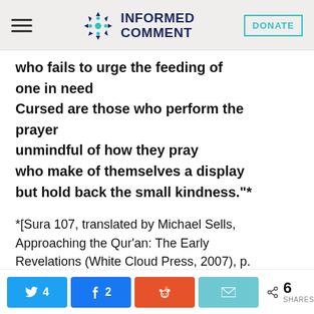INFORMED COMMENT | DONATE
who fails to urge the feeding of
one in need
Cursed are those who perform the
prayer
unmindful of how they pray
who make of themselves a display
but hold back the small kindness."*
*[Sura 107, translated by Michael Sells, Approaching the Qur'an: The Early Revelations (White Cloud Press, 2007), p. 124]